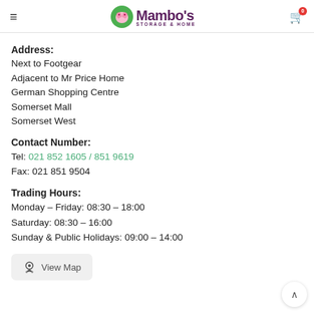Mambo's Storage & Home — navigation header with logo and cart
Address:
Next to Footgear
Adjacent to Mr Price Home
German Shopping Centre
Somerset Mall
Somerset West
Contact Number:
Tel: 021 852 1605 / 851 9619
Fax: 021 851 9504
Trading Hours:
Monday – Friday: 08:30 – 18:00
Saturday: 08:30 – 16:00
Sunday & Public Holidays: 09:00 – 14:00
[Figure (other): View Map button with map pin icon]